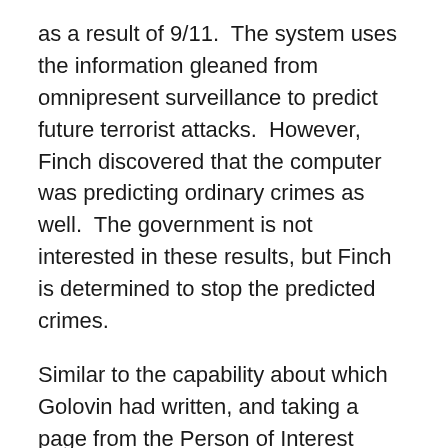as a result of 9/11.  The system uses the information gleaned from omnipresent surveillance to predict future terrorist attacks.  However, Finch discovered that the computer was predicting ordinary crimes as well.  The government is not interested in these results, but Finch is determined to stop the predicted crimes.
Similar to the capability about which Golovin had written, and taking a page from the Person of Interest show referenced above, there are numerous predictive models being introduced in all phases of our everyday lives.  For example, Rick Shaw from Awareity.com has himself created a version of the system that Harold Finch created in an effort to stop bullying as well as school violence.
Known has TIPS, Shaw's central repository system leverages a predictive analysis model to identify potential